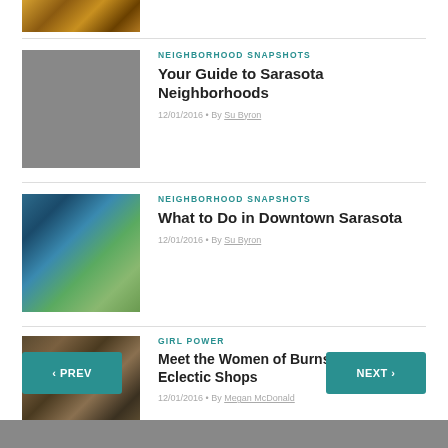[Figure (photo): Partial view of a restaurant or bar interior image at top]
[Figure (photo): Gray placeholder thumbnail for Sarasota Neighborhoods article]
NEIGHBORHOOD SNAPSHOTS
Your Guide to Sarasota Neighborhoods
12/01/2016 • By Su Byron
[Figure (photo): Aerial view of downtown Sarasota waterfront with marina and park]
NEIGHBORHOOD SNAPSHOTS
What to Do in Downtown Sarasota
12/01/2016 • By Su Byron
[Figure (photo): Street-level view of Burns Court eclectic shops with awnings]
GIRL POWER
Meet the Women of Burns Court's Eclectic Shops
12/01/2016 • By Megan McDonald
‹ PREV
NEXT ›